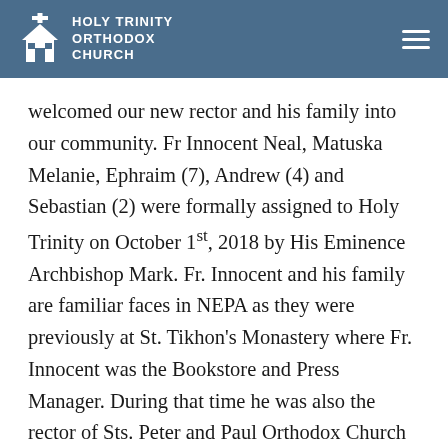Holy Trinity Orthodox Church
welcomed our new rector and his family into our community. Fr Innocent Neal, Matuska Melanie, Ephraim (7), Andrew (4) and Sebastian (2) were formally assigned to Holy Trinity on October 1st, 2018 by His Eminence Archbishop Mark. Fr. Innocent and his family are familiar faces in NEPA as they were previously at St. Tikhon's Monastery where Fr. Innocent was the Bookstore and Press Manager. During that time he was also the rector of Sts. Peter and Paul Orthodox Church in Union Dale, PA. Fr. Innocent is a 2005 graduate of St. Tikhon's Seminary where he received his Masters of Divinity. After graduation he moved to Atlanta GA to serve as a Reader, Catechist and Assistant Administrator at his home parish, St. John the Wonderworker. During that